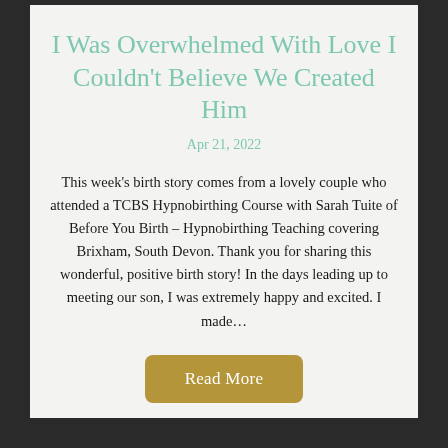I Was Overwhelmed With Love I Couldn't Believe We Created Him
Apr 21, 2022
This week's birth story comes from a lovely couple who attended a TCBS Hypnobirthing Course with Sarah Tuite of Before You Birth – Hypnobirthing Teaching covering Brixham, South Devon. Thank you for sharing this wonderful, positive birth story! In the days leading up to meeting our son, I was extremely happy and excited. I made…
Read More